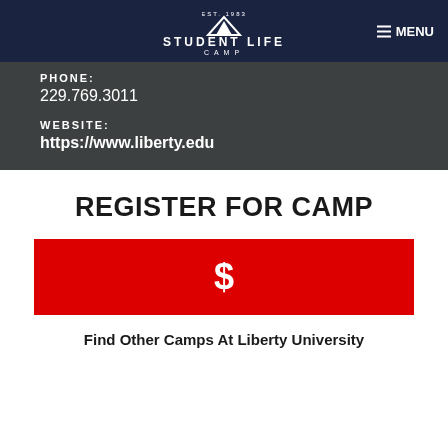STUDENT LIFE CAMP | MENU
PHONE:
229.769.3011
WEBSITE:
https://www.liberty.edu
REGISTER FOR CAMP
[Figure (other): Red button with dollar sign ($) for camp registration]
Find Other Camps At Liberty University